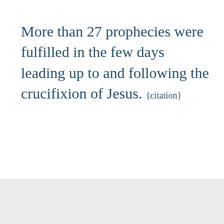More than 27 prophecies were fulfilled in the few days leading up to and following the crucifixion of Jesus. {citation}